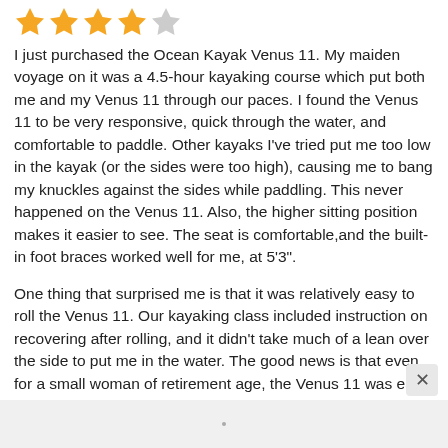[Figure (other): 4 out of 5 stars rating: four filled gold stars and one empty/grey star]
I just purchased the Ocean Kayak Venus 11. My maiden voyage on it was a 4.5-hour kayaking course which put both me and my Venus 11 through our paces. I found the Venus 11 to be very responsive, quick through the water, and comfortable to paddle. Other kayaks I've tried put me too low in the kayak (or the sides were too high), causing me to bang my knuckles against the sides while paddling. This never happened on the Venus 11. Also, the higher sitting position makes it easier to see. The seat is comfortable,and the built-in foot braces worked well for me, at 5'3".
One thing that surprised me is that it was relatively easy to roll the Venus 11. Our kayaking class included instruction on recovering after rolling, and it didn't take much of a lean over the side to put me in the water. The good news is that even for a small woman of retirement age, the Venus 11 was easy to flip back over and get back on.